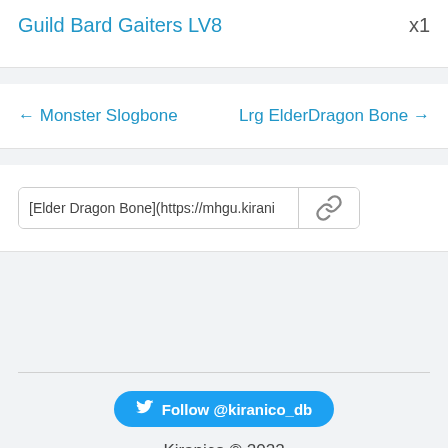Guild Bard Gaiters LV8   x1
← Monster Slogbone   Lrg ElderDragon Bone →
[Elder Dragon Bone](https://mhgu.kirani
Follow @kiranico_db
Kiranico © 2022